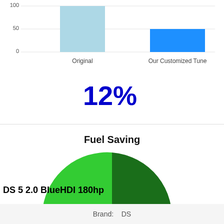[Figure (bar-chart): 12%]
[Figure (pie-chart): Fuel Saving]
DS 5 2.0 BlueHDI 180hp
Brand:    DS